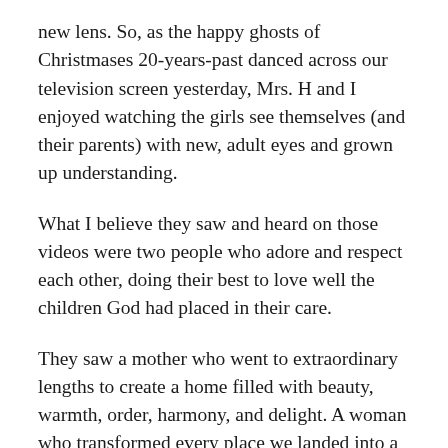new lens. So, as the happy ghosts of Christmases 20-years-past danced across our television screen yesterday, Mrs. H and I enjoyed watching the girls see themselves (and their parents) with new, adult eyes and grown up understanding.
What I believe they saw and heard on those videos were two people who adore and respect each other, doing their best to love well the children God had placed in their care.
They saw a mother who went to extraordinary lengths to create a home filled with beauty, warmth, order, harmony, and delight. A woman who transformed every place we landed into a cozy little echo of the garden of Eden on earth. Who made every day a party, and every party a grand affair.
They saw a father who...